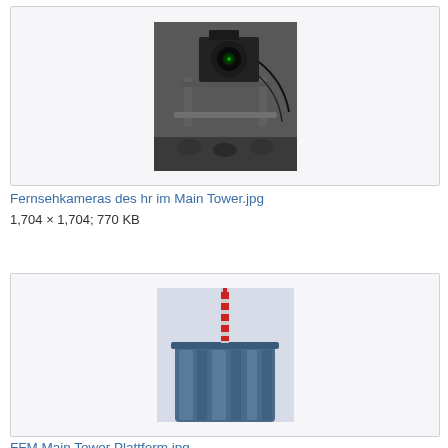[Figure (photo): Photo of TV camera equipment mounted on a mechanical rig/dolly, photographed in an indoor setting with grey walls. The equipment appears to be a professional broadcast television camera with various mechanical support arms and rollers.]
Fernsehkameras des hr im Main Tower.jpg
1,704 × 1,704; 770 KB
[Figure (photo): Photo of the top portion of the Main Tower skyscraper in Frankfurt (FFM), showing the cylindrical upper section clad in dark blue glass curtain wall, topped with a red and white striped antenna mast against a light grey sky.]
FFM Main Tower Plattform.jpg
1,368 × 1,824; 1.32 MB